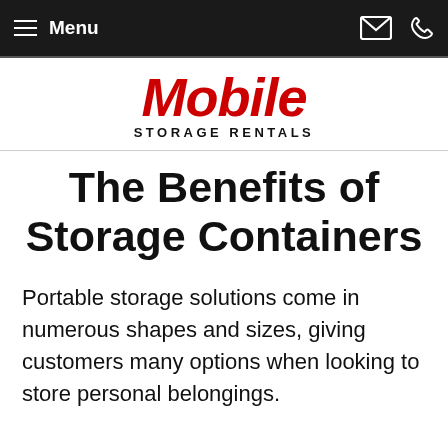Menu
[Figure (logo): Mobile Storage Rentals logo with 'Mobile' in large red italic bold text and 'STORAGE RENTALS' in smaller black uppercase letters below]
The Benefits of Storage Containers
Portable storage solutions come in numerous shapes and sizes, giving customers many options when looking to store personal belongings.